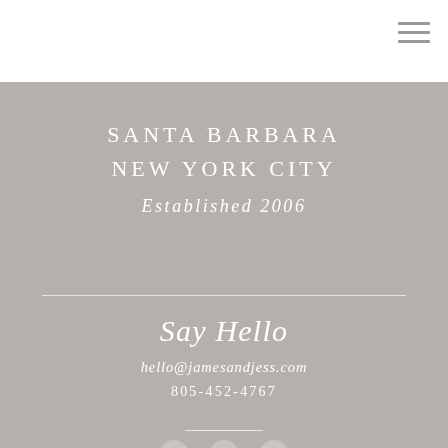[Figure (other): Hamburger menu icon (three horizontal lines) in top-right corner of white navigation bar]
SANTA BARBARA
NEW YORK CITY
Established 2006
Say Hello
hello@jamesandjess.com
805-452-4767